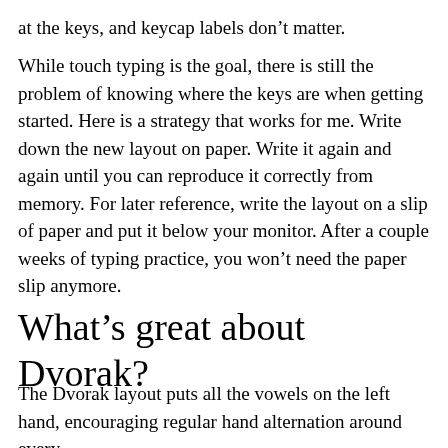at the keys, and keycap labels don't matter.
While touch typing is the goal, there is still the problem of knowing where the keys are when getting started. Here is a strategy that works for me. Write down the new layout on paper. Write it again and again until you can reproduce it correctly from memory. For later reference, write the layout on a slip of paper and put it below your monitor. After a couple weeks of typing practice, you won't need the paper slip anymore.
What's great about Dvorak?
The Dvorak layout puts all the vowels on the left hand, encouraging regular hand alternation around every